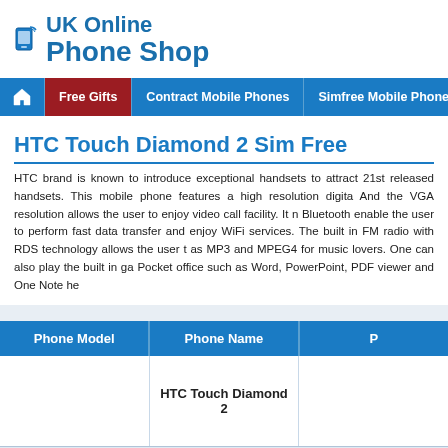[Figure (logo): UK Online Phone Shop logo with mobile phone icon and blue text]
Free Gifts | Contract Mobile Phones | Simfree Mobile Phones | PAY...
HTC Touch Diamond 2 Sim Free
HTC brand is known to introduce exceptional handsets to attract 21st... released handsets. This mobile phone features a high resolution digita... And the VGA resolution allows the user to enjoy video call facility. It... Bluetooth enable the user to perform fast data transfer and enjoy WiFi... services. The built in FM radio with RDS technology allows the user t... as MP3 and MPEG4 for music lovers. One can also play the built in ga... Pocket office such as Word, PowerPoint, PDF viewer and One Note he...
| Phone Model | Phone Name | P... |
| --- | --- | --- |
|  | HTC Touch Diamond 2 |  |